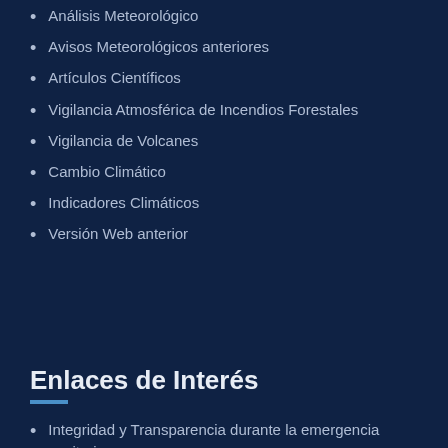Análisis Meteorológico
Avisos Meteorológicos anteriores
Artículos Científicos
Vigilancia Atmosférica de Incendios Forestales
Vigilancia de Volcanes
Cambio Climático
Indicadores Climáticos
Versión Web anterior
Enlaces de Interés
Integridad y Transparencia durante la emergencia sanitaria
Ministerio del Ambiente